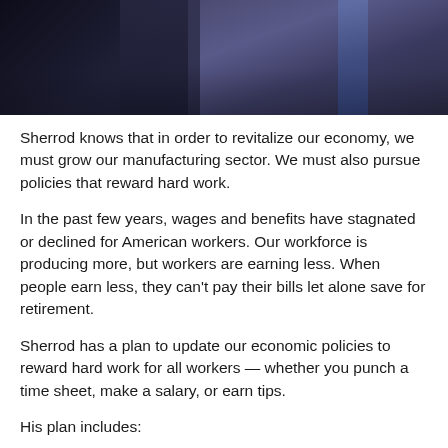[Figure (photo): Dark photograph showing people, likely at a campaign or political event, with dark background tones of navy and black]
Sherrod knows that in order to revitalize our economy, we must grow our manufacturing sector. We must also pursue policies that reward hard work.
In the past few years, wages and benefits have stagnated or declined for American workers. Our workforce is producing more, but workers are earning less. When people earn less, they can't pay their bills let alone save for retirement.
Sherrod has a plan to update our economic policies to reward hard work for all workers — whether you punch a time sheet, make a salary, or earn tips.
His plan includes:
1. Raising the federal minimum wage to $15 an hour.